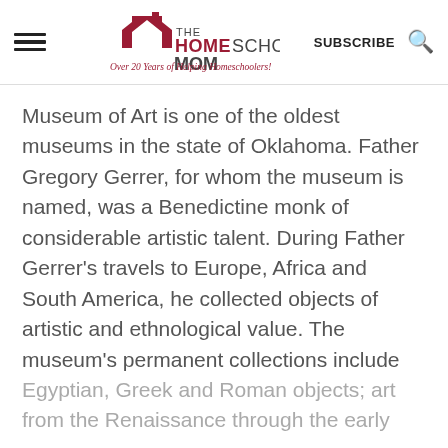THE HOMESCHOOL MOM — Over 20 Years of Helping Homeschoolers! | SUBSCRIBE
Museum of Art is one of the oldest museums in the state of Oklahoma. Father Gregory Gerrer, for whom the museum is named, was a Benedictine monk of considerable artistic talent. During Father Gerrer's travels to Europe, Africa and South America, he collected objects of artistic and ethnological value. The museum's permanent collections include Egyptian, Greek and Roman objects; art from the Renaissance through the early